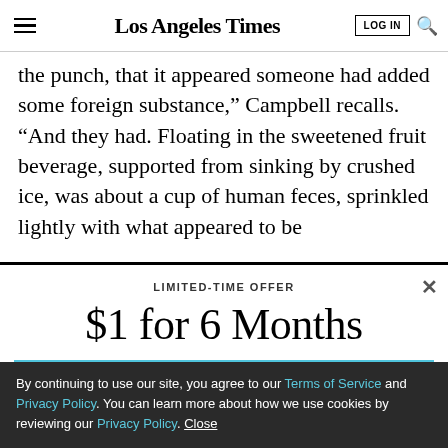Los Angeles Times
the punch, that it appeared someone had added some foreign substance," Campbell recalls. "And they had. Floating in the sweetened fruit beverage, supported from sinking by crushed ice, was about a cup of human feces, sprinkled lightly with what appeared to be
LIMITED-TIME OFFER
$1 for 6 Months
SUBSCRIBE NOW
By continuing to use our site, you agree to our Terms of Service and Privacy Policy. You can learn more about how we use cookies by reviewing our Privacy Policy. Close